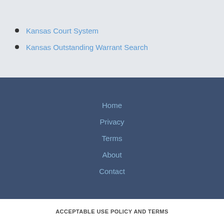Kansas Court System
Kansas Outstanding Warrant Search
Home
Privacy
Terms
About
Contact
ACCEPTABLE USE POLICY AND TERMS